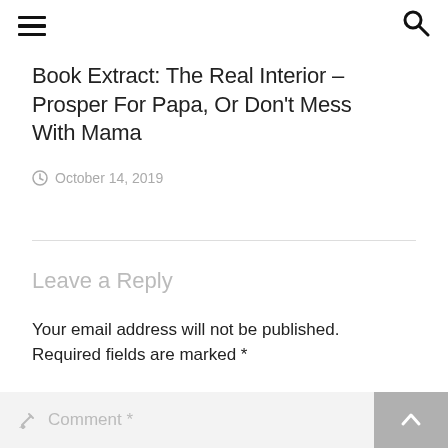≡ [menu] [search]
[Figure (photo): Partial photo strip showing blurred warm-toned image at top of page]
Book Extract: The Real Interior – Prosper For Papa, Or Don't Mess With Mama
October 14, 2019
Leave a Reply
Your email address will not be published. Required fields are marked *
Comment *